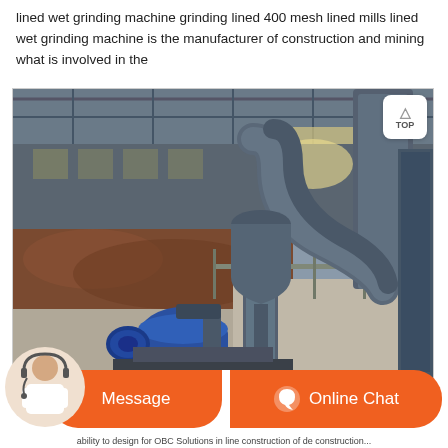lined wet grinding machine grinding lined 400 mesh lined mills lined wet grinding machine is the manufacturer of construction and mining what is involved in the
[Figure (photo): Industrial facility interior showing a large wet grinding machine with grey cylindrical ductwork/piping, a blue motor unit, conveyor railing, and piles of reddish-brown ore material in background under a steel-framed roof structure.]
Message | Online Chat